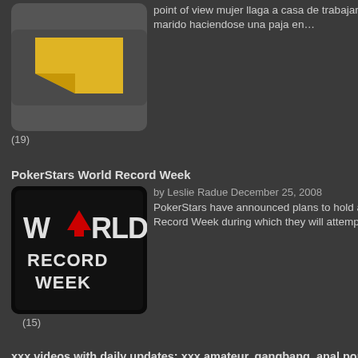point of view mujer llaga a casa de trabajar y pilla al marido haciendose una paja en… (19)
PokerStars World Record Week
by Leslie Radue December 25, 2008 PokerStars have announced plans to hold a World Record Week during which they will attempt to break… (15)
xxx videos with daily updates: xxx amateur, gangbang, anal porn, blowjobs and much more
by Site Default June 9, 2022 Beautiful teen get nice pummel Elle sait secouer ses fesses Lady Armani, LT, assfuckYanks Alana Vibrating Her… (14)